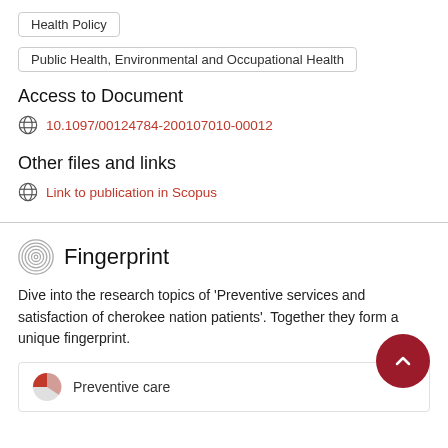Health Policy
Public Health, Environmental and Occupational Health
Access to Document
10.1097/00124784-200107010-00012
Other files and links
Link to publication in Scopus
Fingerprint
Dive into the research topics of 'Preventive services and satisfaction of cherokee nation patients'. Together they form a unique fingerprint.
Preventive care